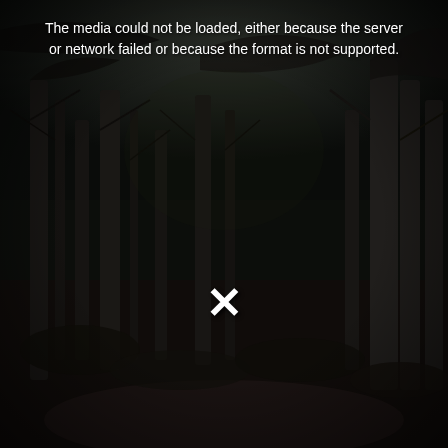[Figure (photo): Dark forest scene with bare tree trunks and branches, dark undergrowth, very low light — appears to be a night or heavily overcast woodland path. A media-player error overlay is visible: text at top reads 'The media could not be loaded, either because the server or network failed or because the format is not supported.' and a white X symbol appears in the lower center.]
The media could not be loaded, either because the server or network failed or because the format is not supported.